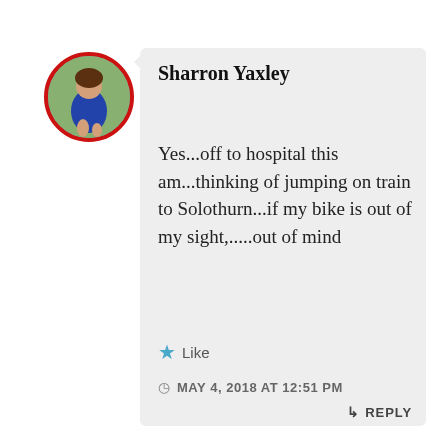[Figure (photo): Circular avatar photo of Sharron Yaxley with red border, showing a person in a blue dress outdoors]
Sharron Yaxley
Yes...off to hospital this am...thinking of jumping on train to Solothurn...if my bike is out of my sight,.....out of mind
★ Like
MAY 4, 2018 AT 12:51 PM
↳ REPLY